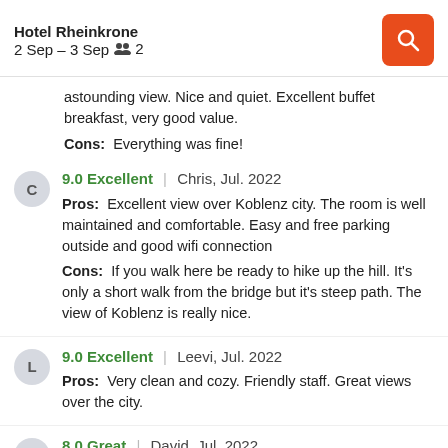Hotel Rheinkrone | 2 Sep – 3 Sep | 2 guests
...Great. Very comfortable family hotel, sparking clean, with astounding view. Nice and quiet. Excellent buffet breakfast, very good value.
Cons: Everything was fine!
9.0 Excellent | Chris, Jul. 2022
Pros: Excellent view over Koblenz city. The room is well maintained and comfortable. Easy and free parking outside and good wifi connection
Cons: If you walk here be ready to hike up the hill. It's only a short walk from the bridge but it's steep path. The view of Koblenz is really nice.
9.0 Excellent | Leevi, Jul. 2022
Pros: Very clean and cozy. Friendly staff. Great views over the city.
8.0 Great | David, Jul. 2022
Pros: A quiet location with superb views over Koblenz and a good restaurant.